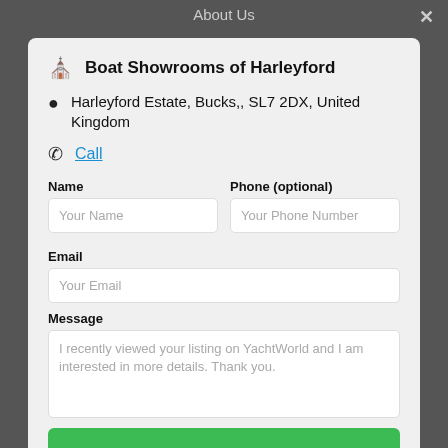About Us
Boat Showrooms of Harleyford
Harleyford Estate, Bucks,, SL7 2DX, United Kingdom
Call
Name
Phone (optional)
Email
Message
I recently viewed your listing on YachtWorld and I am interested in more details. Thank you.
Contact Broker